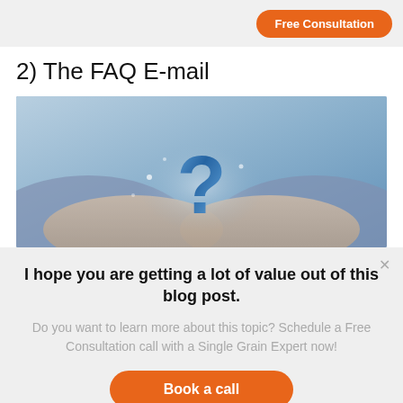Free Consultation
2) The FAQ E-mail
[Figure (photo): Hands cupping a blue 3D question mark symbol, representing FAQ concept]
I hope you are getting a lot of value out of this blog post.
Do you want to learn more about this topic? Schedule a Free Consultation call with a Single Grain Expert now!
Book a call